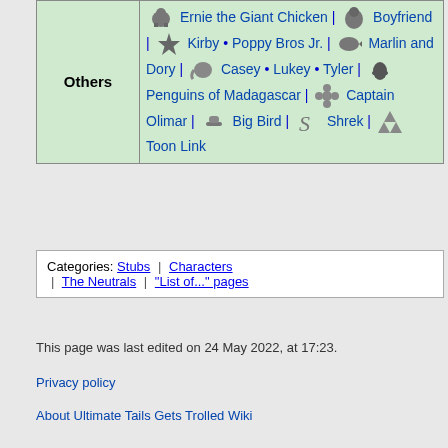|  | Others |
| --- | --- |
| Others | Ernie the Giant Chicken | Boyfriend | Kirby • Poppy Bros Jr. | Marlin and Dory | Casey • Lukey • Tyler | Penguins of Madagascar | Captain Olimar | Big Bird | Shrek | Toon Link |
Categories: Stubs | Characters | The Neutrals | "List of..." pages
This page was last edited on 24 May 2022, at 17:23.
Privacy policy
About Ultimate Tails Gets Trolled Wiki